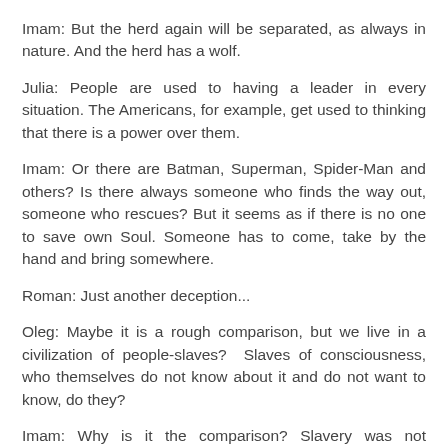Imam: But the herd again will be separated, as always in nature. And the herd has a wolf.
Julia: People are used to having a leader in every situation. The Americans, for example, get used to thinking that there is a power over them.
Imam: Or there are Batman, Superman, Spider-Man and others? Is there always someone who finds the way out, someone who rescues? But it seems as if there is no one to save own Soul. Someone has to come, take by the hand and bring somewhere.
Roman: Just another deception...
Oleg: Maybe it is a rough comparison, but we live in a civilization of people-slaves?  Slaves of consciousness, who themselves do not know about it and do not want to know, do they?
Imam: Why is it the comparison? Slavery was not cancelled by anyone, it was just improved.
Oleg: The best servant is one who thinks that he is free, is it so? He knows and understands everything.
Imam: There was such a legend. I cannot remember word by word right now, but it happened as long ago as Egypt times. Slaves carry